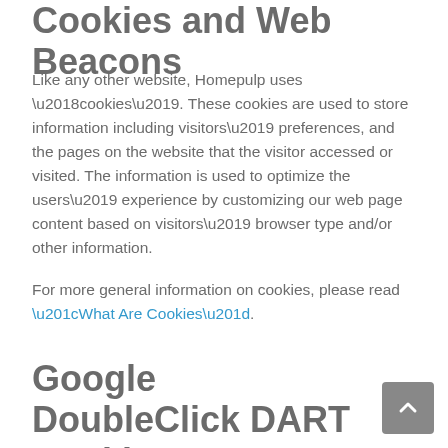Cookies and Web Beacons
Like any other website, Homepulp uses ‘cookies’. These cookies are used to store information including visitors’ preferences, and the pages on the website that the visitor accessed or visited. The information is used to optimize the users’ experience by customizing our web page content based on visitors’ browser type and/or other information.
For more general information on cookies, please read “What Are Cookies”.
Google DoubleClick DART Cookie